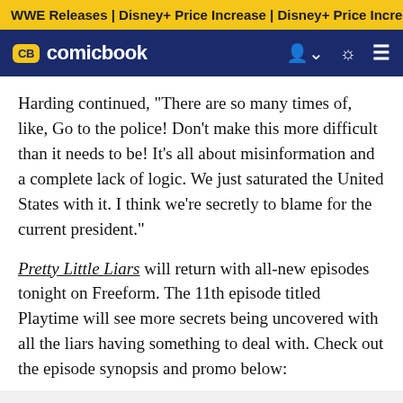WWE Releases | Disney+ Price Increase | Disney+ Price Incre
CB comicbook
Harding continued, "There are so many times of, like, Go to the police! Don't make this more difficult than it needs to be! It's all about misinformation and a complete lack of logic. We just saturated the United States with it. I think we're secretly to blame for the current president."
Pretty Little Liars will return with all-new episodes tonight on Freeform. The 11th episode titled Playtime will see more secrets being uncovered with all the liars having something to deal with. Check out the episode synopsis and promo below: